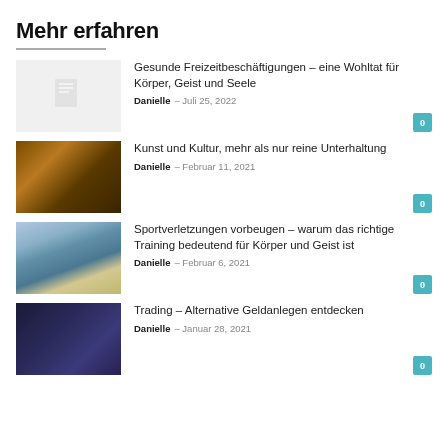Mehr erfahren
Gesunde Freizeitbeschäftigungen – eine Wohltat für Körper, Geist und Seele
Danielle – Juli 25, 2022
Kunst und Kultur, mehr als nur reine Unterhaltung
Danielle – Februar 11, 2021
Sportverletzungen vorbeugen – warum das richtige Training bedeutend für Körper und Geist ist
Danielle – Februar 6, 2021
Trading – Alternative Geldanlegen entdecken
Danielle – Januar 28, 2021